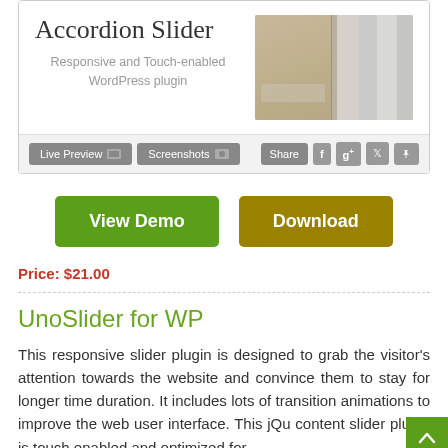[Figure (screenshot): Accordion Slider WordPress plugin card showing plugin title, subtitle, preview image with accordion-style panels, toolbar with Live Preview, Screenshots, Share, and social buttons]
View Demo
Download
Price: $21.00
UnoSlider for WP
This responsive slider plugin is designed to grab the visitor's attention towards the website and convince them to stay for longer time duration. It includes lots of transition animations to improve the web user interface. This jQu content slider plugin is touch enabled and optimized for